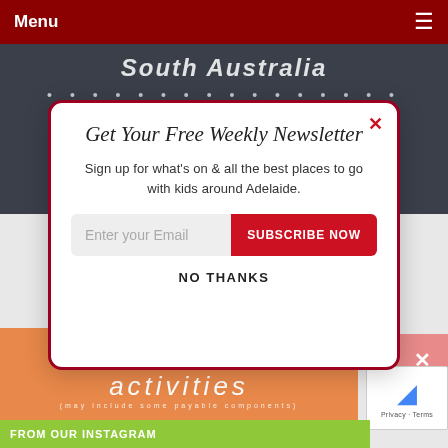Menu
[Figure (screenshot): South Australia School Holidays chalkboard-style header image with white text]
[Figure (screenshot): Newsletter signup modal popup with red border containing: title 'Get Your Free Weekly Newsletter', body text, email input, SUBSCRIBE NOW button, and NO THANKS link]
Get Your Free Weekly Newsletter
Sign up for what's on & all the best places to go with kids around Adelaide.
NO THANKS
[Figure (screenshot): Orange banner with text 'events & activities (may include some payable components)']
FROM OUR INSTAGRAM